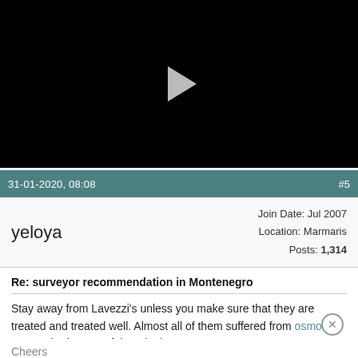[Figure (screenshot): Black video player with a white triangular play button in the center]
31-01-2020, 08:08   #5
yeloya
Join Date: Jul 2007
Location: Marmaris
Posts: 1,314
Re: surveyor recommendation in Montenegro
Stay away from Lavezzi's unless you make sure that they are treated and treated well. Almost all of them suffered from osmosis, we repaired 2 or 3 of them in the past.
Otherwise, they are very good boats and sail very well.
Cheers